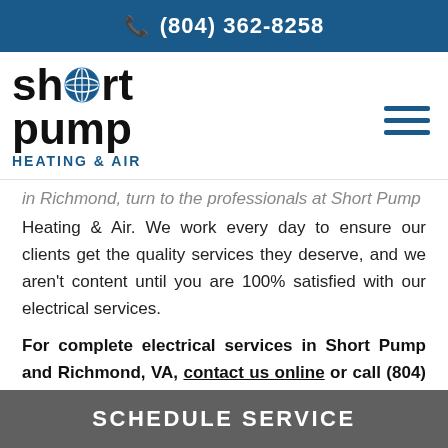(804) 362-8258
[Figure (logo): Short Pump Heating & Air logo with globe icon replacing the 'o' in 'short']
in Richmond, turn to the professionals at Short Pump Heating & Air. We work every day to ensure our clients get the quality services they deserve, and we aren't content until you are 100% satisfied with our electrical services.
For complete electrical services in Short Pump and Richmond, VA, contact us online or call (804) 362-8258 to speak with an electrical contractor now!
SCHEDULE SERVICE